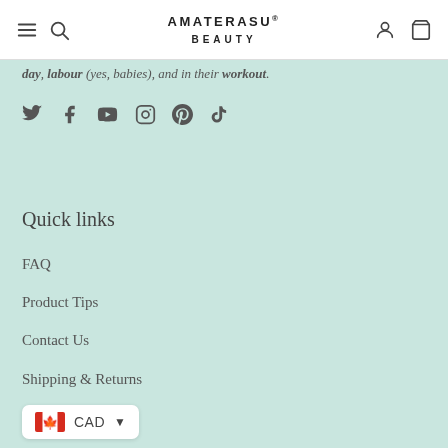AMATERASU BEAUTY
day, labour (yes, babies, and in their workout.
[Figure (illustration): Social media icons row: Twitter, Facebook, YouTube, Instagram, Pinterest, TikTok]
Quick links
FAQ
Product Tips
Contact Us
Shipping & Returns
Wholesale Inquiry
Store Locator
[Figure (other): Currency selector showing Canadian flag and CAD with dropdown chevron]